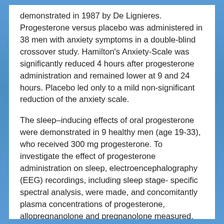demonstrated in 1987 by De Lignieres. Progesterone versus placebo was administered in 38 men with anxiety symptoms in a double-blind crossover study. Hamilton's Anxiety-Scale was significantly reduced 4 hours after progesterone administration and remained lower at 9 and 24 hours. Placebo led only to a mild non-significant reduction of the anxiety scale.
The sleep–inducing effects of oral progesterone were demonstrated in 9 healthy men (age 19-33), who received 300 mg progesterone. To investigate the effect of progesterone administration on sleep, electroencephalography (EEG) recordings, including sleep stage- specific spectral analysis, were made, and concomitantly plasma concentrations of progesterone, allopregnanolone and pregnanolone measured. Changes of sleep architecture and sleep EEG corresponded to those induced by agonistic modulation of the GABA receptors. Allopregnanolone and pregnanolone mediate these effects.